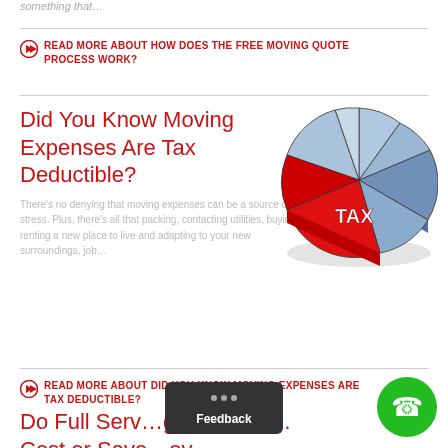something that…
READ MORE ABOUT HOW DOES THE FREE MOVING QUOTE PROCESS WORK?
Did You Know Moving Expenses Are Tax Deductible?
[Figure (illustration): A 3D pie chart with blue/grey and red slices; the red slice is labeled 'TAX']
There's no denying that moving expenses can be a source of stress. Plus, there's all that packing, contacting utilities, buying or renting a new place to live and adapting to your new surroundings, job…
READ MORE ABOUT DID YOU KNOW MOVING EXPENSES ARE TAX DEDUCTIBLE?
Do Full Serv… g Compani… Cost or Save… ey